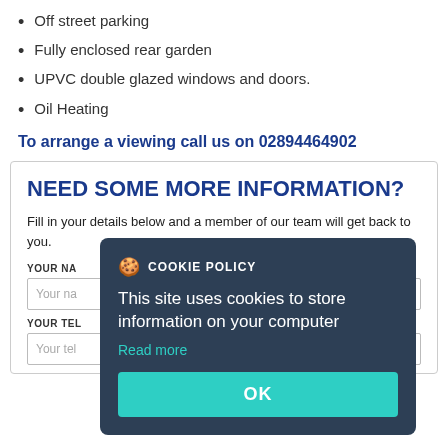Off street parking
Fully enclosed rear garden
UPVC double glazed windows and doors.
Oil Heating
To arrange a viewing call us on 02894464902
NEED SOME MORE INFORMATION?
Fill in your details below and a member of our team will get back to you.
YOUR NAME
YOUR TELEPHONE
[Figure (screenshot): Cookie policy popup overlay with dark navy background, cookie icon, title 'COOKIE POLICY', body text 'This site uses cookies to store information on your computer', a 'Read more' link in teal, and a teal 'OK' button.]